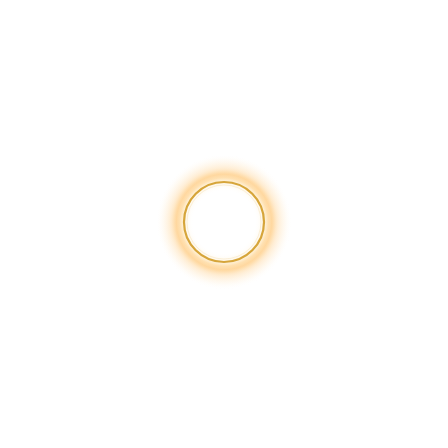[Figure (other): A glowing golden circle ring on a white background. The ring has a warm golden-orange stroke with a soft radial glow/halo effect emanating outward in light orange/peach tones. The interior and exterior of the ring are white. The circle is centered slightly right and below the page center.]